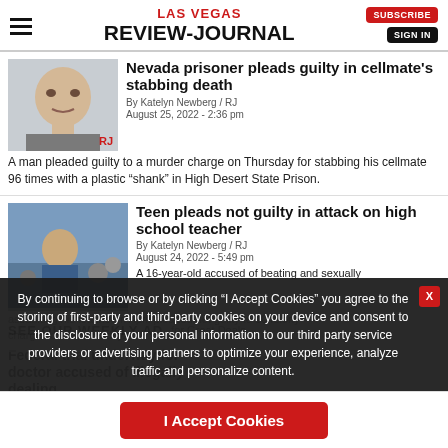LAS VEGAS REVIEW-JOURNAL | SUBSCRIBE | SIGN IN
Nevada prisoner pleads guilty in cellmate's stabbing death
By Katelyn Newberg / RJ
August 25, 2022 - 2:36 pm
A man pleaded guilty to a murder charge on Thursday for stabbing his cellmate 96 times with a plastic “shank” in High Desert State Prison.
[Figure (photo): Mugshot photo of a bald young man, with RJ badge]
Teen pleads not guilty in attack on high school teacher
By Katelyn Newberg / RJ
August 24, 2022 - 5:49 pm
A 16-year-old accused of beating and sexually assaulting his teacher in April pleaded not guilty to 10 felony charges on Wednesday.
[Figure (photo): Photo of a teen in blue shirt seated in a courtroom]
Federal trial underway for doctor accused of illegally dealing...
By continuing to browse or by clicking “I Accept Cookies” you agree to the storing of first-party and third-party cookies on your device and consent to the disclosure of your personal information to our third party service providers or advertising partners to optimize your experience, analyze traffic and personalize content.
I Accept Cookies